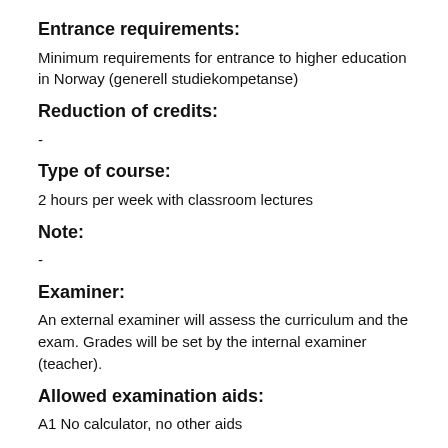Entrance requirements:
Minimum requirements for entrance to higher education in Norway (generell studiekompetanse)
Reduction of credits:
-
Type of course:
2 hours per week with classroom lectures
Note:
-
Examiner:
An external examiner will assess the curriculum and the exam. Grades will be set by the internal examiner (teacher).
Allowed examination aids:
A1 No calculator, no other aids